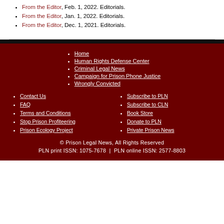From the Editor, Feb. 1, 2022. Editorials.
From the Editor, Jan. 1, 2022. Editorials.
From the Editor, Dec. 1, 2021. Editorials.
Home
Human Rights Defense Center
Criminal Legal News
Campaign for Prison Phone Justice
Wrongly Convicted
Contact Us
FAQ
Terms and Conditions
Stop Prison Profiteering
Prison Ecology Project
Subscribe to PLN
Subscribe to CLN
Book Store
Donate to PLN
Private Prison News
© Prison Legal News, All Rights Reserved
PLN print ISSN: 1075-7678  |  PLN online ISSN: 2577-8803